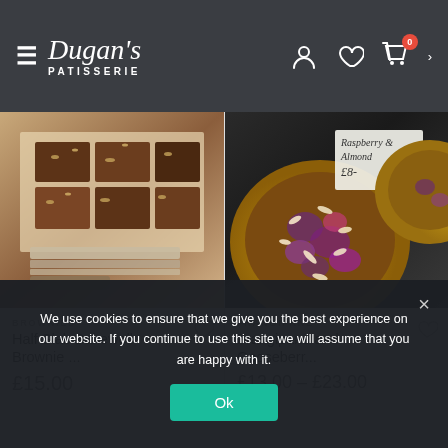Dugan's Patisserie
[Figure (photo): Overhead photo of brownie slabs cut into squares with nuts on top, on parchment paper with a knife nearby]
BROWNIES
Half Slab Bakewell Brownie ...
£15.00
[Figure (photo): Frangipane tart with gooseberries and flaked almonds, with a handwritten sign saying Raspberry Almond £8]
FRANGIPANE
Frangipane and Gooseberr...
£13.00 – £23.00
We use cookies to ensure that we give you the best experience on our website. If you continue to use this site we will assume that you are happy with it.